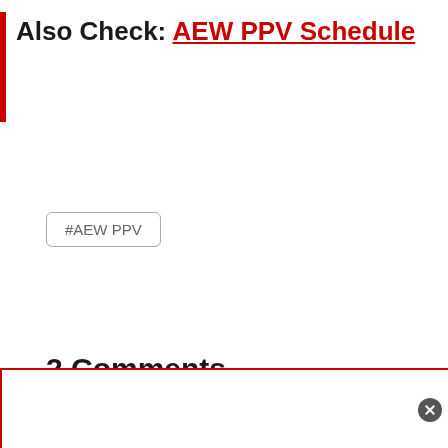Also Check: AEW PPV Schedule
#AEW PPV
2 Comments